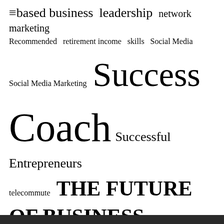[Figure (infographic): Tag cloud with business and entrepreneurship keywords displayed at varying font sizes indicating frequency/importance. Terms include: based business, leadership, network marketing, Recommended, retirement income, skills, Social Media, Social Media Marketing, Success, Coach, Successful Entrepreneurs, telecommute, THE FUTURE OF BUSINESS, Women, Working With Me, Working Women, workplace skills]